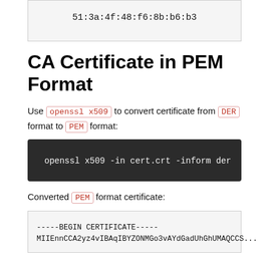51:3a:4f:48:f6:8b:b6:b3
CA Certificate in PEM Format
Use openssl x509 to convert certificate from DER format to PEM format:
openssl x509 -in cert.crt -inform der
Converted PEM format certificate:
-----BEGIN CERTIFICATE-----
MIIEnnCCA2yz4vIBAqIBYZONMGo3vAYdGadUhGhUMAQCCS...